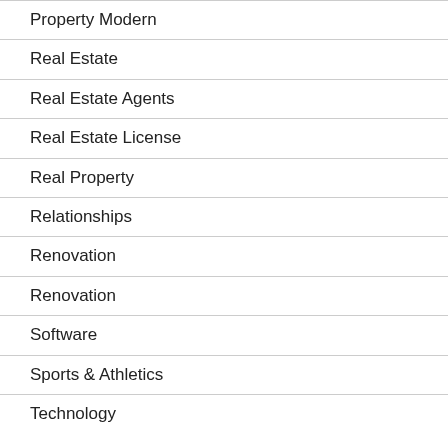Property Modern
Real Estate
Real Estate Agents
Real Estate License
Real Property
Relationships
Renovation
Renovation
Software
Sports & Athletics
Technology